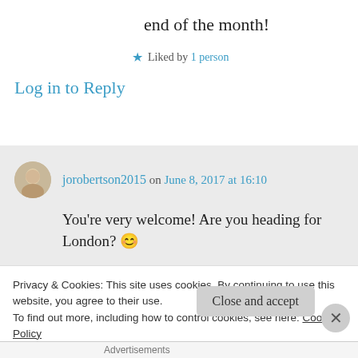end of the month!
★ Liked by 1 person
Log in to Reply
jorobertson2015 on June 8, 2017 at 16:10
You're very welcome! Are you heading for London? 😊
★ Like
Privacy & Cookies: This site uses cookies. By continuing to use this website, you agree to their use.
To find out more, including how to control cookies, see here: Cookie Policy
Close and accept
Advertisements